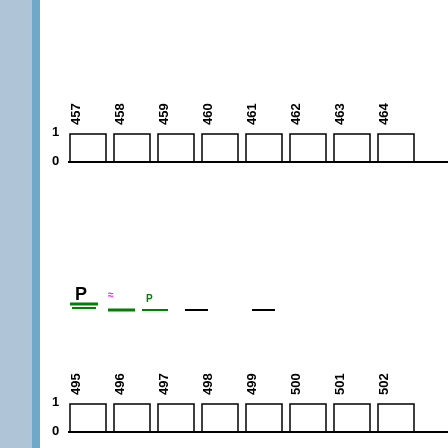[Figure (bar-chart): Sequence alignment chart 457-464]
[Figure (bar-chart): Sequence alignment chart 495-502]